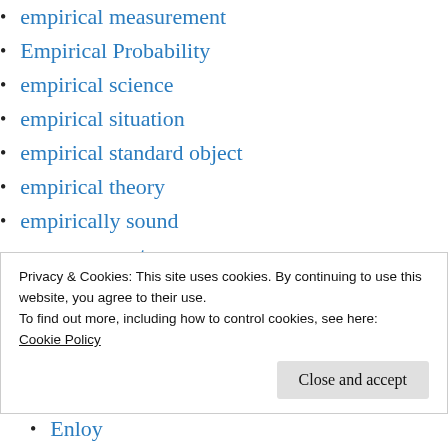empirical measurement
Empirical Probability
empirical science
empirical situation
empirical standard object
empirical theory
empirically sound
empowerment
Engineering
Engineering Management
engineering process
Privacy & Cookies: This site uses cookies. By continuing to use this website, you agree to their use.
To find out more, including how to control cookies, see here:
Cookie Policy
Enloy